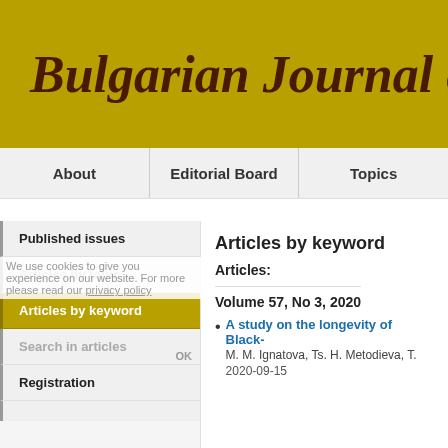Bulgarian Journal of
About | Editorial Board | Topics
Published issues
Articles by topic
Articles by keyword
Search in articles
Registration
Articles by keyword
Articles:
Volume 57, No 3, 2020
A study on the longevity of Black-
M. M. Ignatova, Ts. H. Metodieva, T.
2020-09-15